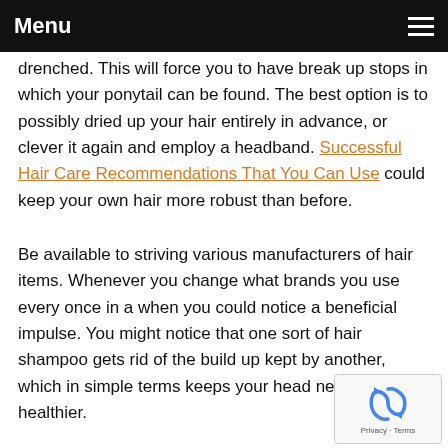Menu
drenched. This will force you to have break up stops in which your ponytail can be found. The best option is to possibly dried up your hair entirely in advance, or clever it again and employ a headband. Successful Hair Care Recommendations That You Can Use could keep your own hair more robust than before.
Be available to striving various manufacturers of hair items. Whenever you change what brands you use every once in a when you could notice a beneficial impulse. You might notice that one sort of hair shampoo gets rid of the build up kept by another, which in simple terms keeps your head neat and healthier.
[Figure (other): reCAPTCHA widget with recycling arrows icon, showing Privacy and Terms links]